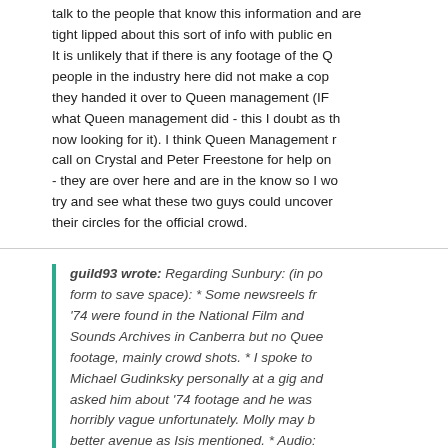talk to the people that know this information and are tight lipped about this sort of info with public enquiries. It is unlikely that if there is any footage of the Queen people in the industry here did not make a copy before they handed it over to Queen management (IF that is what Queen management did - this I doubt as they are now looking for it). I think Queen Management needs to call on Crystal and Peter Freestone for help on this one - they are over here and are in the know so I would try and see what these two guys could uncover in their circles for the official crowd.
guild93 wrote: Regarding Sunbury: (in post form to save space): * Some newsreels from '74 were found in the National Film and Sounds Archives in Canberra but no Queen footage, mainly crowd shots. * I spoke to Michael Gudinksky personally at a gig and asked him about '74 footage and he was horribly vague unfortunately. Molly may be a better avenue as Isis mentioned. * Audio: appears on countless trade lists and inva...